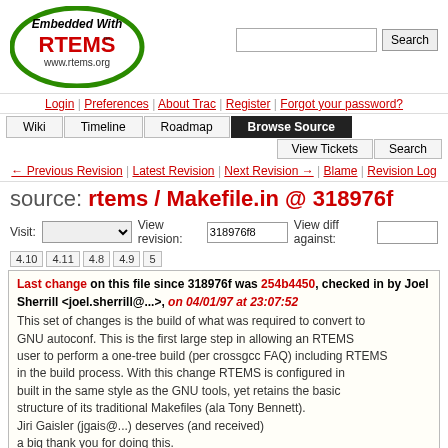[Figure (logo): RTEMS logo - green oval with 'Embedded With RTEMS' text and www.rtems.org]
Login | Preferences | About Trac | Register | Forgot your password?
Wiki | Timeline | Roadmap | Browse Source | View Tickets | Search
← Previous Revision | Latest Revision | Next Revision → | Blame | Revision Log
source: rtems / Makefile.in @ 318976f
Visit: [dropdown] View revision: 318976f8 View diff against: [input]
4.10  4.11  4.8  4.9  5
Last change on this file since 318976f was 254b4450, checked in by Joel Sherrill <joel.sherrill@...>, on 04/01/97 at 23:07:52
This set of changes is the build of what was required to convert to GNU autoconf. This is the first large step in allowing an RTEMS user to perform a one-tree build (per crossgcc FAQ) including RTEMS in the build process. With this change RTEMS is configured in built in the same style as the GNU tools, yet retains the basic structure of its traditional Makefiles (ala Tony Bennett).
Jiri Gaisler (jgais@...) deserves (and received)
a big thank you for doing this.
There are still issues to be resolved but as of this commit, all target which can be built on a linux host have been using a modified version of the source Jiri submitted. This source was merged and most targets built in the tree before this commit.
There are some issues which remain to be resolved but they are primarily